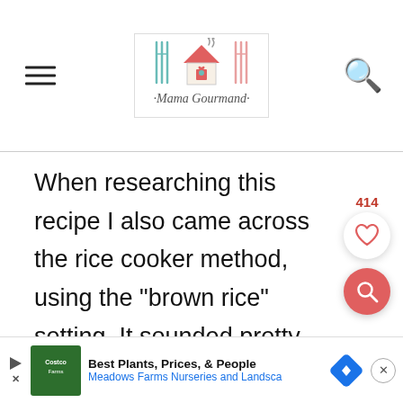Mama Gourmand
When researching this recipe I also came across the rice cooker method, using the “brown rice” setting. It sounded pretty effortless, so I gave it a try!
[Figure (screenshot): Floating like and search buttons with count 414]
[Figure (screenshot): Advertisement banner: Best Plants, Prices, & People - Meadows Farms Nurseries and Landscape]